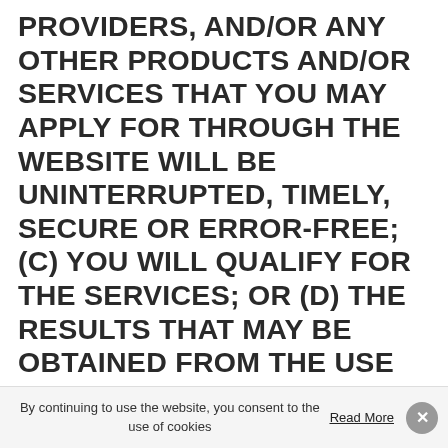PROVIDERS, AND/OR ANY OTHER PRODUCTS AND/OR SERVICES THAT YOU MAY APPLY FOR THROUGH THE WEBSITE WILL BE UNINTERRUPTED, TIMELY, SECURE OR ERROR-FREE; (C) YOU WILL QUALIFY FOR THE SERVICES; OR (D) THE RESULTS THAT MAY BE OBTAINED FROM THE USE OF THE WEBSITE, SERVICES, CONTENT, ANY THIRD PARTY PRODUCTS THAT YOU MAY RECEIVE FROM ONE OF OUR THIRD PARTY PROVIDERS, AND/OR ANY OTHER PRODUCTS AND/OR SERVICES THAT YOU MAY APPLY FOR THROUGH THE WEBSITE WILL BE ACCURATE OR RELIABLE. THE WEBSITE, SERVICES, CONTENT, ANY THIRD PARTY PRODUCTS THAT YOU MAY RECEIVE FROM ONE OF OUR THIRD PARTY
By continuing to use the website, you consent to the use of cookies
Read More